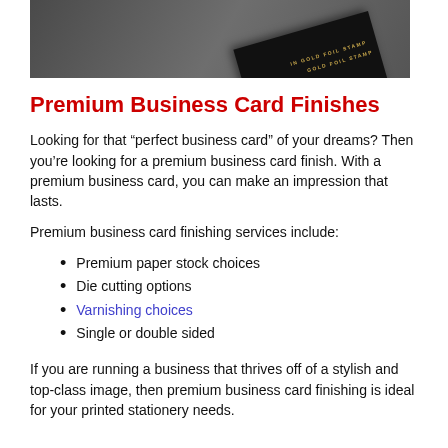[Figure (photo): Dark background with premium black business cards overlapping, showing gold foil stamp text]
Premium Business Card Finishes
Looking for that “perfect business card” of your dreams? Then you’re looking for a premium business card finish. With a premium business card, you can make an impression that lasts.
Premium business card finishing services include:
Premium paper stock choices
Die cutting options
Varnishing choices
Single or double sided
If you are running a business that thrives off of a stylish and top-class image, then premium business card finishing is ideal for your printed stationery needs.